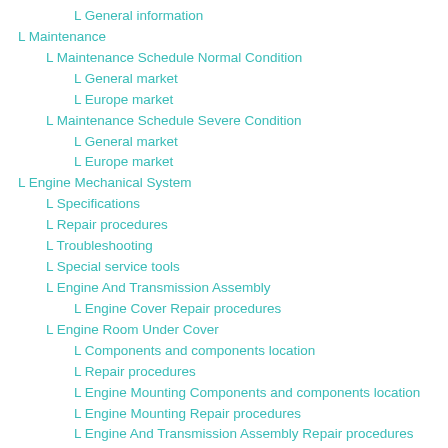L General information
L Maintenance
L Maintenance Schedule Normal Condition
L General market
L Europe market
L Maintenance Schedule Severe Condition
L General market
L Europe market
L Engine Mechanical System
L Specifications
L Repair procedures
L Troubleshooting
L Special service tools
L Engine And Transmission Assembly
L Engine Cover Repair procedures
L Engine Room Under Cover
L Components and components location
L Repair procedures
L Engine Mounting Components and components location
L Engine Mounting Repair procedures
L Engine And Transmission Assembly Repair procedures
L Timing System
L Components and components location
L Drive Belt Components and components location
L Drive Belt Repair procedures